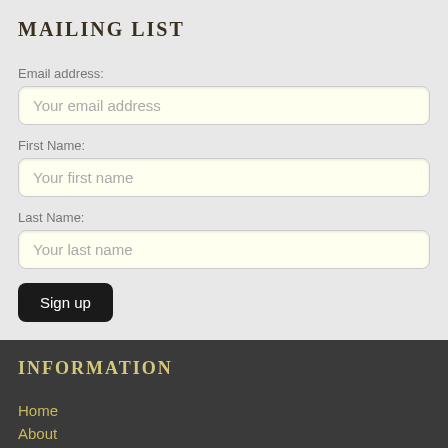MAILING LIST
Email address:
Your email address
First Name:
Your first name
Last Name:
Your last name
Sign up
INFORMATION
Home
About